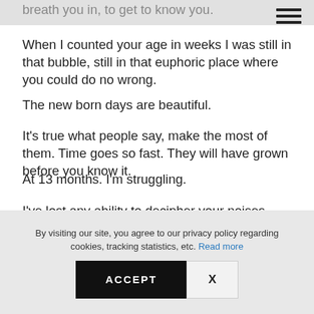breath you in, to get to know you.
When I counted your age in weeks I was still in that bubble, still in that euphoric place where you could do no wrong.
The new born days are beautiful.
It's true what people say, make the most of them. Time goes so fast. They will have grown before you know it.
At 13 months. I'm struggling.
I've lost any ability to decipher your noises.
The sleepless nights now are because you are poorly and it breaks my heart I can't make you feel better.
Sleepless nights now seem hard work. I can't just feed you back to sleep.
By visiting our site, you agree to our privacy policy regarding cookies, tracking statistics, etc. Read more
ACCEPT
X